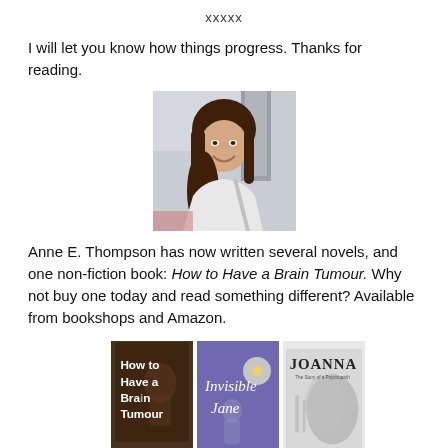xxxxx
I will let you know how things progress. Thanks for reading.
[Figure (photo): Portrait photo of a young woman with long brown hair, smiling, wearing a white top with a bag strap, outdoors with a bridge/pillar in the background.]
Anne E. Thompson has now written several novels, and one non-fiction book: How to Have a Brain Tumour. Why not buy one today and read something different? Available from bookshops and Amazon.
[Figure (photo): Three book covers side by side: 'How to Have a Brain Tumour' (dark brown cover), 'Invisible Jane' (purple cover with italic script), and 'JOANNA The Story of a Psychopath' (grey/white cover).]